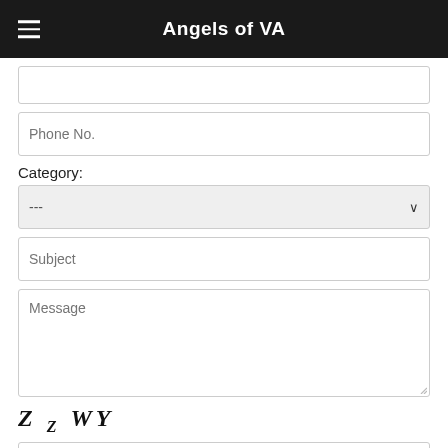Angels of VA
Phone No.
Category:
---
Subject
Message
[Figure (other): CAPTCHA image showing stylized italic bold text: Z Z WY]
Please enter the value of this image below